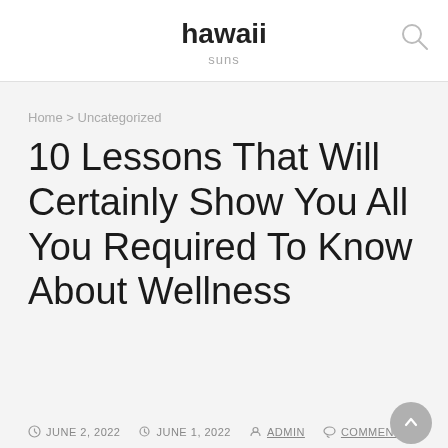hawaii
suns
Home > Uncategorized
10 Lessons That Will Certainly Show You All You Required To Know About Wellness
JUNE 2, 2022  JUNE 1, 2022  ADMIN  COMMENTS: 0